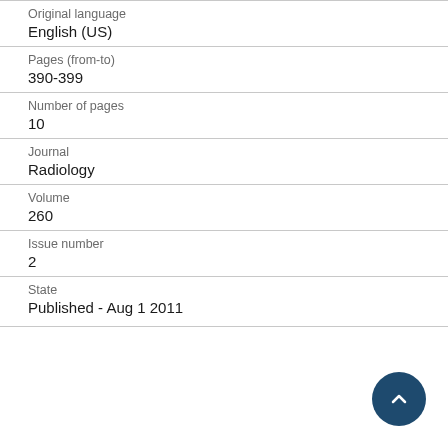Original language
English (US)
Pages (from-to)
390-399
Number of pages
10
Journal
Radiology
Volume
260
Issue number
2
State
Published - Aug 1 2011